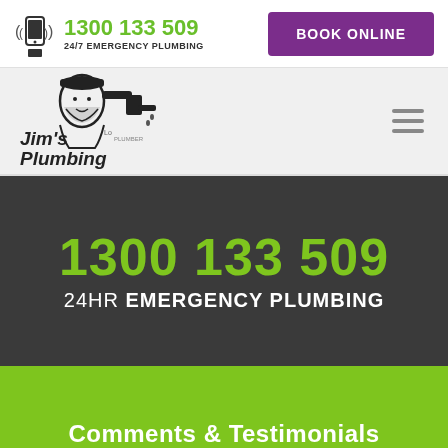1300 133 509 | 24/7 EMERGENCY PLUMBING | BOOK ONLINE
[Figure (logo): Jim's Plumbing logo with illustration of man and faucet]
1300 133 509
24HR EMERGENCY PLUMBING
Comments & Testimonials